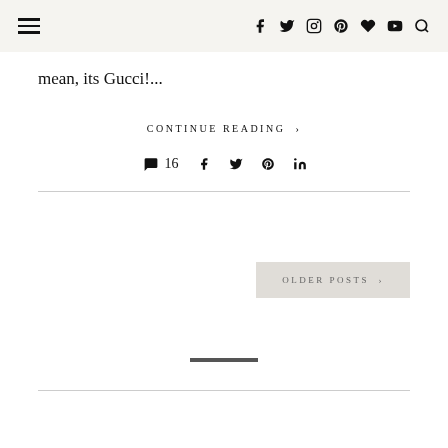Navigation bar with hamburger menu and social icons: facebook, twitter, instagram, pinterest, heart, youtube, search
mean, its Gucci!...
CONTINUE READING >
💬 16  f  🐦  𝗽  in
OLDER POSTS >
—